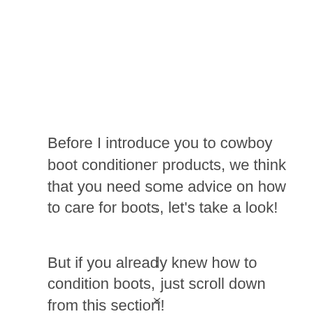Before I introduce you to cowboy boot conditioner products, we think that you need some advice on how to care for boots, let's take a look!
But if you already knew how to condition boots, just scroll down from this section!
×